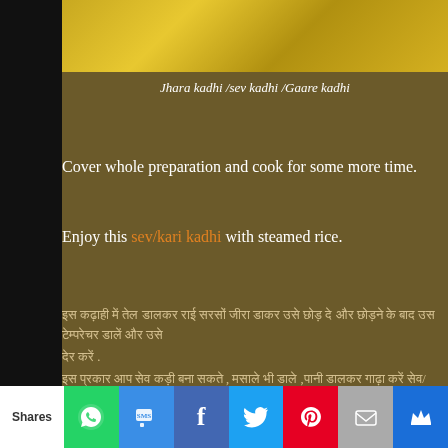[Figure (photo): Close-up photo of yellow/golden kadhi dish at the top of the page]
Jhara kadhi /sev kadhi /Gaare kadhi
Cover whole preparation and cook for some more time.
Enjoy this sev/kari kadhi with steamed rice.
Hindi text paragraphs describing recipe instructions including 500gram measurement
Shares | WhatsApp | SMS | Facebook | Twitter | Pinterest | Email | Crown